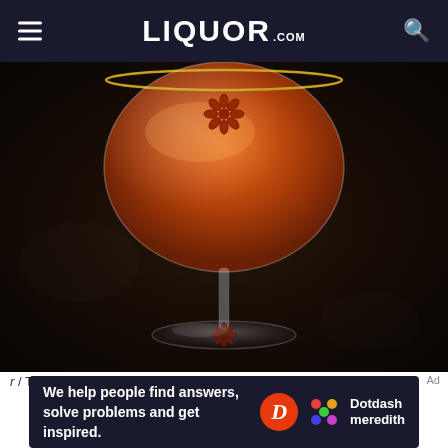LIQUOR.COM
[Figure (photo): Close-up photo of an amber/orange cocktail in a coupe glass with a star anise garnish, on a dark textured background]
r / The N
[Figure (infographic): Advertisement banner: 'We help people find answers, solve problems and get inspired.' with Dotdash Meredith logo]